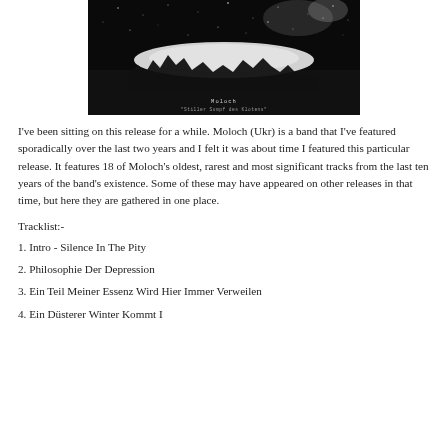[Figure (photo): Album cover artwork for Moloch 'Stiller Sumpf des Klotens' showing a dark, atmospheric black and white image with the band name and album title text visible.]
I've been sitting on this release for a while. Moloch (Ukr) is a band that I've featured sporadically over the last two years and I felt it was about time I featured this particular release. It features 18 of Moloch's oldest, rarest and most significant tracks from the last ten years of the band's existence. Some of these may have appeared on other releases in that time, but here they are gathered in one place.
Tracklist:-
1. Intro - Silence In The Pity
2. Philosophie Der Depression
3. Ein Teil Meiner Essenz Wird Hier Immer Verweilen
4. Ein Düsterer Winter Kommt I